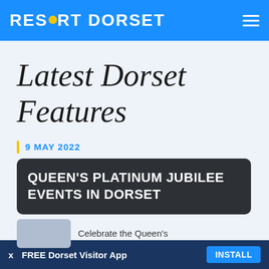RESORT DORSET
Latest Dorset Features
9 MAY 2022
QUEEN'S PLATINUM JUBILEE EVENTS IN DORSET
Celebrate the Queen's
x  FREE Dorset Visitor App  INSTALL